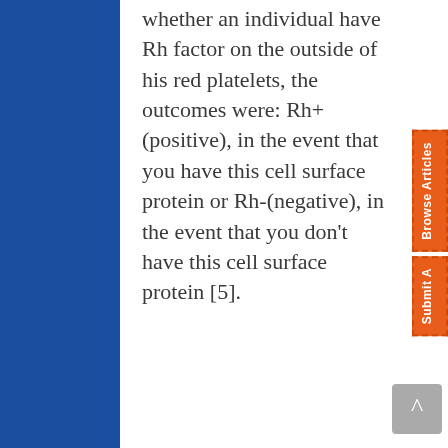whether an individual have Rh factor on the outside of his red platelets, the outcomes were: Rh+ (positive), in the event that you have this cell surface protein or Rh-(negative), in the event that you don't have this cell surface protein [5].